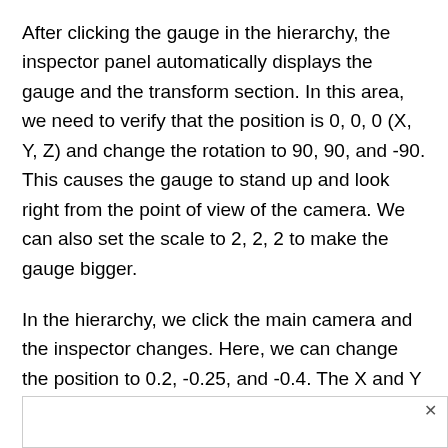After clicking the gauge in the hierarchy, the inspector panel automatically displays the gauge and the transform section. In this area, we need to verify that the position is 0, 0, 0 (X, Y, Z) and change the rotation to 90, 90, and -90. This causes the gauge to stand up and look right from the point of view of the camera. We can also set the scale to 2, 2, 2 to make the gauge bigger.
In the hierarchy, we click the main camera and the inspector changes. Here, we can change the position to 0.2, -0.25, and -0.4. The X and Y settings are because the gauge's reference isn't from the center, so it's offset a bit based on its size. The Z location provides some space between the camera and the object.